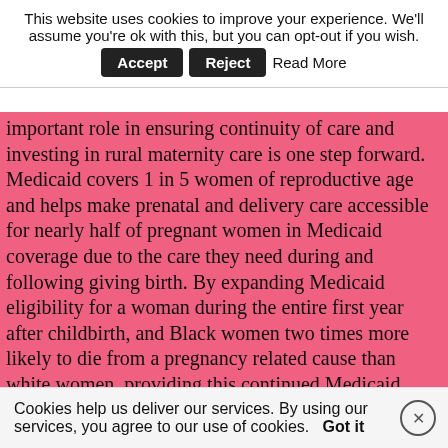This website uses cookies to improve your experience. We'll assume you're ok with this, but you can opt-out if you wish. [Accept] [Reject] Read More
important role in ensuring continuity of care and investing in rural maternity care is one step forward. Medicaid covers 1 in 5 women of reproductive age and helps make prenatal and delivery care accessible for nearly half of pregnant women in Medicaid coverage due to the care they need during and following giving birth. By expanding Medicaid eligibility for a woman during the entire first year after childbirth, and Black women two times more likely to die from a pregnancy related cause than white women, providing this continued Medicaid coverage helps ensure women not look what i found only recover from birth, but they also have access to continuous health care coverage and access to. HHS Secretary Xavier Becerra announced that Illinois is setting an important model for other states across the country to follow.
Cookies help us deliver our services. By using our services, you agree to our use of cookies. Got it